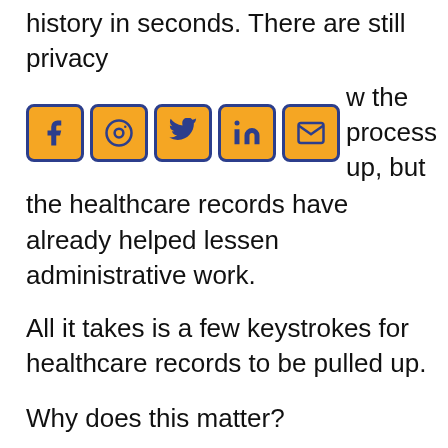history in seconds. There are still privacy [social icons] concerns that can slow the process up, but the healthcare records have already helped lessen administrative work.
All it takes is a few keystrokes for healthcare records to be pulled up.
Why does this matter?
Electronic healthcare records will allow for:
Faster access to patient history
Less human error